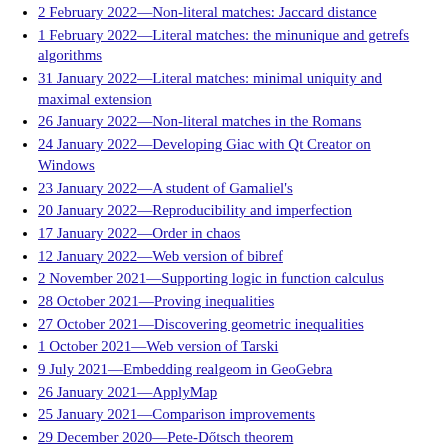2 February 2022—Non-literal matches: Jaccard distance
1 February 2022—Literal matches: the minunique and getrefs algorithms
31 January 2022—Literal matches: minimal uniquity and maximal extension
26 January 2022—Non-literal matches in the Romans
24 January 2022—Developing Giac with Qt Creator on Windows
23 January 2022—A student of Gamaliel's
20 January 2022—Reproducibility and imperfection
17 January 2022—Order in chaos
12 January 2022—Web version of bibref
2 November 2021—Supporting logic in function calculus
28 October 2021—Proving inequalities
27 October 2021—Discovering geometric inequalities
1 October 2021—Web version of Tarski
9 July 2021—Embedding realgeom in GeoGebra
26 January 2021—ApplyMap
25 January 2021—Comparison improvements
29 December 2020—Pete-Dőtsch theorem